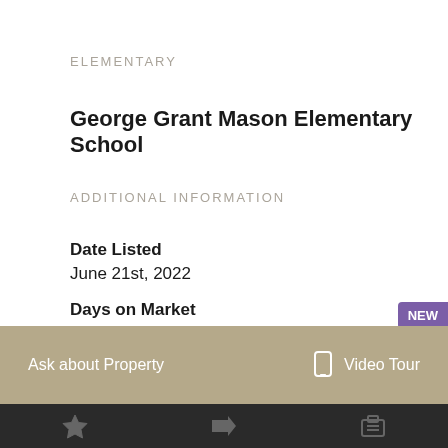ELEMENTARY
George Grant Mason Elementary School
ADDITIONAL INFORMATION
Date Listed
June 21st, 2022
Days on Market
62
NEW
Ask about Property
Video Tour